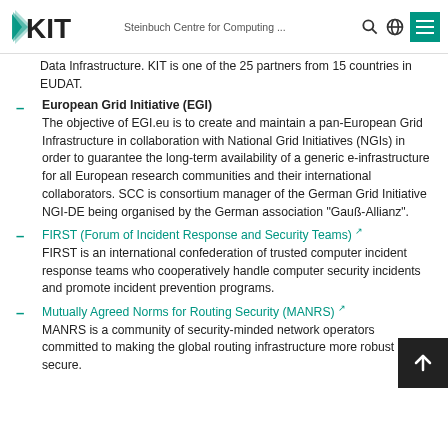KIT – Steinbuch Centre for Computing ...
Data Infrastructure. KIT is one of the 25 partners from 15 countries in EUDAT.
European Grid Initiative (EGI)
The objective of EGI.eu is to create and maintain a pan-European Grid Infrastructure in collaboration with National Grid Initiatives (NGIs) in order to guarantee the long-term availability of a generic e-infrastructure for all European research communities and their international collaborators. SCC is consortium manager of the German Grid Initiative NGI-DE being organised by the German association "Gauß-Allianz".
FIRST (Forum of Incident Response and Security Teams)
FIRST is an international confederation of trusted computer incident response teams who cooperatively handle computer security incidents and promote incident prevention programs.
Mutually Agreed Norms for Routing Security (MANRS)
MANRS is a community of security-minded network operators committed to making the global routing infrastructure more robust and secure.